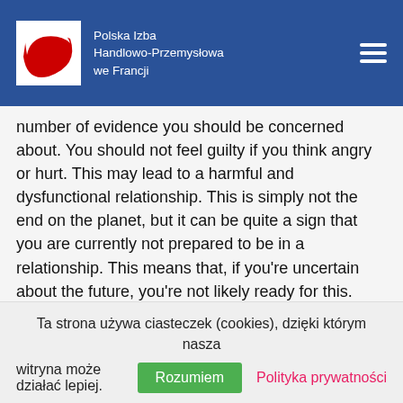Polska Izba Handlowo-Przemysłowa we Francji
number of evidence you should be concerned about. You should not feel guilty if you think angry or hurt. This may lead to a harmful and dysfunctional relationship. This is simply not the end on the planet, but it can be quite a sign that you are currently not prepared to be in a relationship. This means that, if you're uncertain about the future, you're not likely ready for this.
Dodaj komentarz
Twój adres e-mail nie zostanie opublikowany. Wymagane
Ta strona używa ciasteczek (cookies), dzięki którym nasza witryna może działać lepiej. Rozumiem Polityka prywatności